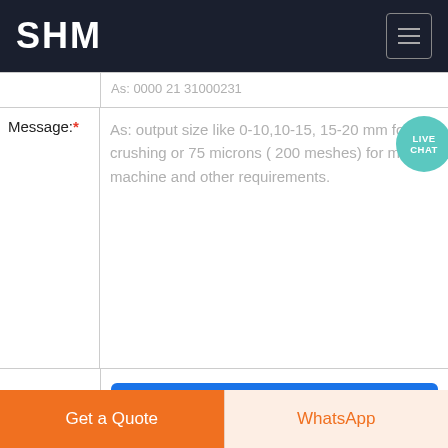SHM
As: 0000 21 31000231
Message:* As: output size like 0-10,10-15, 15-20 mm for crushing or 75 microns ( 200 meshes) for mill machine and other requirements.
Submit Now
[Figure (photo): Industrial machinery photo strip showing metal parts and equipment]
Get a Quote
WhatsApp